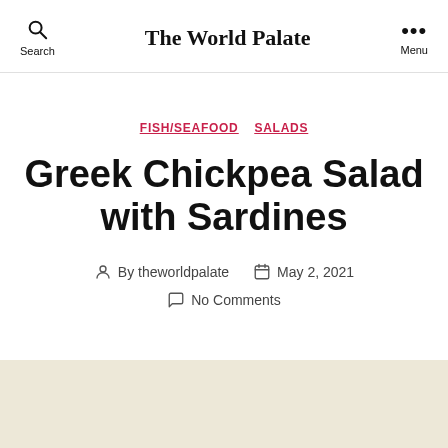The World Palate
FISH/SEAFOOD  SALADS
Greek Chickpea Salad with Sardines
By theworldpalate  May 2, 2021  No Comments